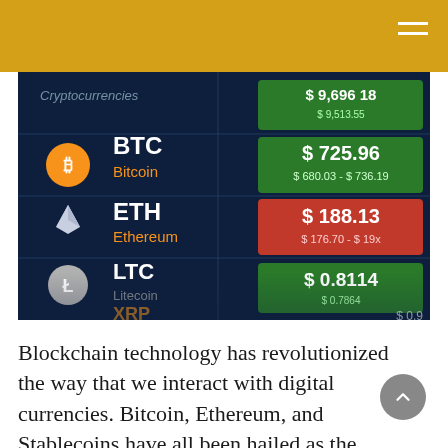[Figure (photo): Cryptocurrency market display board showing BTC Bitcoin, ETH Ethereum, LTC Litecoin, XRP with price data. Bitcoin shows $725.96 range $680.03-$736.19, Ethereum shows $188.13 range $176.70-$19x, LTC shows $0.8114, with green and red price indicator tiles.]
Blockchain technology has revolutionized the way that we interact with digital currencies. Bitcoin, Ethereum, and Stablecoins have all been hailed as the future of money. What is blockchain technology? What are its